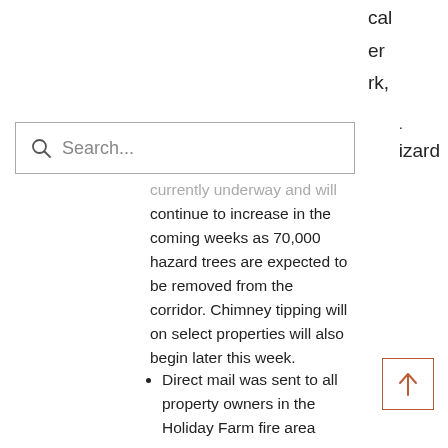cal
er
rk,
izard
[Figure (screenshot): Search bar with magnifying glass icon and placeholder text 'Search...']
currently underway and will continue to increase in the coming weeks as 70,000 hazard trees are expected to be removed from the corridor. Chimney tipping will on select properties will also begin later this week.
Direct mail was sent to all property owners in the Holiday Farm fire area